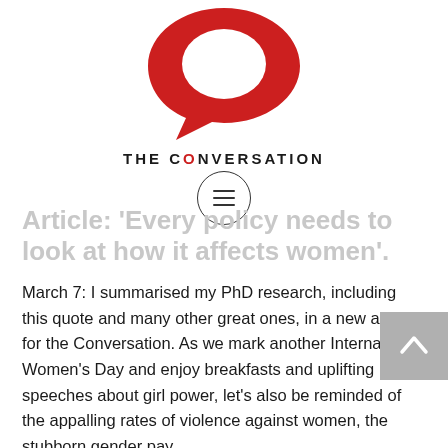[Figure (logo): The Conversation logo — red speech bubble icon above the text 'THE CONVERSATION']
Article: 'Every policy needs to look at how it affects women'.
March 7: I summarised my PhD research, including this quote and many other great ones, in a new article for the Conversation. As we mark another International Women's Day and enjoy breakfasts and uplifting speeches about girl power, let's also be reminded of the appalling rates of violence against women, the stubborn gender pay...